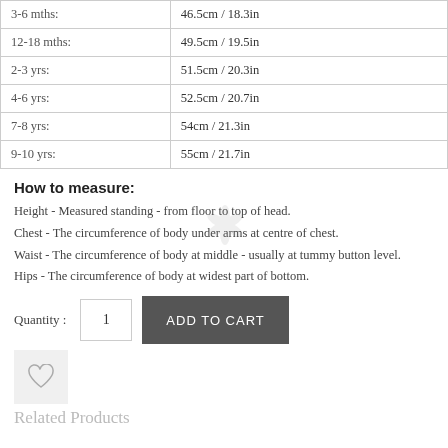| 3-6 mths: | 46.5cm / 18.3in |
| 12-18 mths: | 49.5cm / 19.5in |
| 2-3 yrs: | 51.5cm / 20.3in |
| 4-6 yrs: | 52.5cm / 20.7in |
| 7-8 yrs: | 54cm / 21.3in |
| 9-10 yrs: | 55cm / 21.7in |
How to measure:
Height - Measured standing - from floor to top of head.
Chest - The circumference of body under arms at centre of chest.
Waist - The circumference of body at middle - usually at tummy button level.
Hips - The circumference of body at widest part of bottom.
Quantity : 1  ADD TO CART
[Figure (other): Wishlist heart icon button in a light grey box]
Related Products